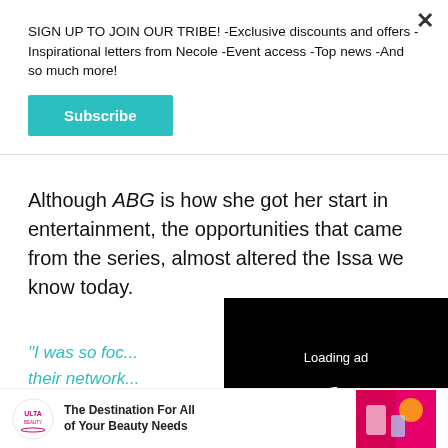SIGN UP TO JOIN OUR TRIBE! -Exclusive discounts and offers -Inspirational letters from Necole -Event access -Top news -And so much more!
Subscribe
Although ABG is how she got her start in entertainment, the opportunities that came from the series, almost altered the Issa we know today.
"I was so foc... their network... the story I w... said. "I was e...
[Figure (screenshot): Video player overlay with black background showing 'Loading ad' text, a spinning loading indicator, and video controls (pause, fullscreen, mute) at the bottom.]
[Figure (infographic): Ulta Beauty advertisement banner: Ulta logo on the left, text 'The Destination For All of Your Beauty Needs' in center, colorful beauty products image on right.]